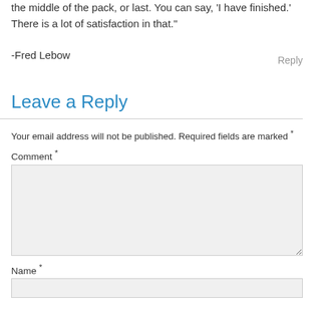the middle of the pack, or last. You can say, 'I have finished.' There is a lot of satisfaction in that."
-Fred Lebow
Reply
Leave a Reply
Your email address will not be published. Required fields are marked *
Comment *
Name *